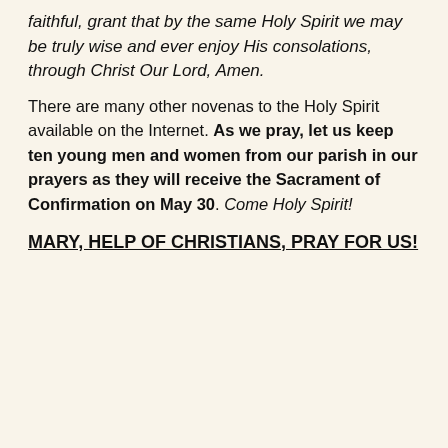faithful, grant that by the same Holy Spirit we may be truly wise and ever enjoy His consolations, through Christ Our Lord, Amen.
There are many other novenas to the Holy Spirit available on the Internet. As we pray, let us keep ten young men and women from our parish in our prayers as they will receive the Sacrament of Confirmation on May 30. Come Holy Spirit!
MARY, HELP OF CHRISTIANS, PRAY FOR US!